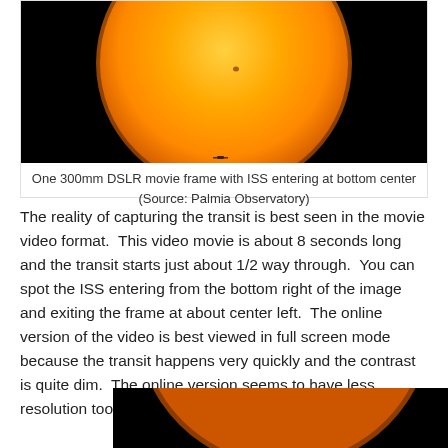[Figure (photo): A photograph of the Sun (large orange/yellow disk) against a black background, taken through a 300mm DSLR. The ISS is entering at the bottom center of the frame.]
One 300mm DSLR movie frame with ISS entering at bottom center (Source: Palmia Observatory)
The reality of capturing the transit is best seen in the movie video format.  This video movie is about 8 seconds long and the transit starts just about 1/2 way through.  You can spot the ISS entering from the bottom right of the image and exiting the frame at about center left.  The online version of the video is best viewed in full screen mode because the transit happens very quickly and the contrast is quite dim.  The online version seems to have less resolution too.  More future lessons to be learned here too.
[Figure (photo): A partial photograph of the Sun (orange/yellow disk) against a black background, showing the lower portion of the solar disk, partially cropped at the bottom of the page.]